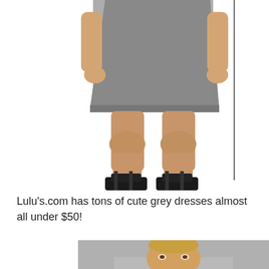[Figure (photo): A woman wearing a grey sleeveless mini dress and black platform heels, photographed from neck down to feet on a white background. A vertical black line appears on the right side of the image.]
Lulu's.com has tons of cute grey dresses almost all under $50!
[Figure (photo): A woman with blonde hair pulled back, wearing a grey dress, photographed from shoulders up against a grey background. Partial image cut off at bottom of page.]